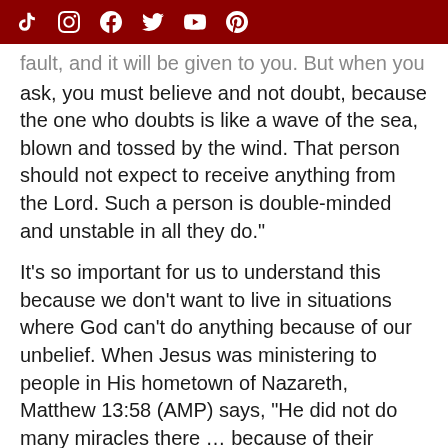[Social media icons: TikTok, Instagram, Facebook, Twitter, YouTube, Pinterest]
fault, and it will be given to you. But when you ask, you must believe and not doubt, because the one who doubts is like a wave of the sea, blown and tossed by the wind. That person should not expect to receive anything from the Lord. Such a person is double-minded and unstable in all they do."
It's so important for us to understand this because we don't want to live in situations where God can't do anything because of our unbelief. When Jesus was ministering to people in His hometown of Nazareth, Matthew 13:58 (AMP) says, "He did not do many miracles there … because of their unbelief."